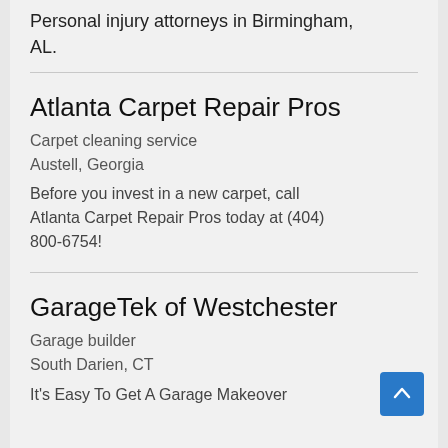Personal injury attorneys in Birmingham, AL.
Atlanta Carpet Repair Pros
Carpet cleaning service
Austell, Georgia
Before you invest in a new carpet, call Atlanta Carpet Repair Pros today at (404) 800-6754!
GarageTek of Westchester
Garage builder
South Darien, CT
It's Easy To Get A Garage Makeover